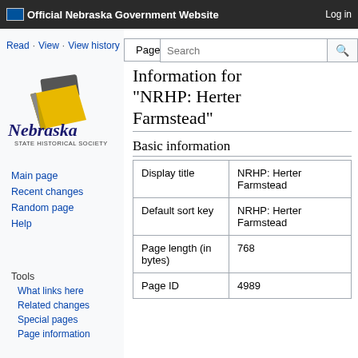Official Nebraska Government Website  Log in
Page  Discussion
Read  View  View history  Search
[Figure (logo): Nebraska State Historical Society logo with pen/quill and yellow notepad graphic]
Main page
Recent changes
Random page
Help
Tools
What links here
Related changes
Special pages
Page information
Information for "NRHP: Herter Farmstead"
Basic information
|  |  |
| --- | --- |
| Display title | NRHP: Herter Farmstead |
| Default sort key | NRHP: Herter Farmstead |
| Page length (in bytes) | 768 |
| Page ID | 4989 |